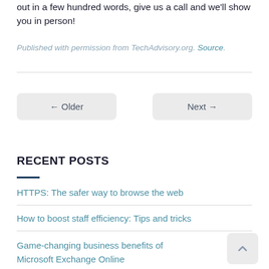out in a few hundred words, give us a call and we'll show you in person!
Published with permission from TechAdvisory.org. Source.
← Older
Next →
RECENT POSTS
HTTPS: The safer way to browse the web
How to boost staff efficiency: Tips and tricks
Game-changing business benefits of Microsoft Exchange Online